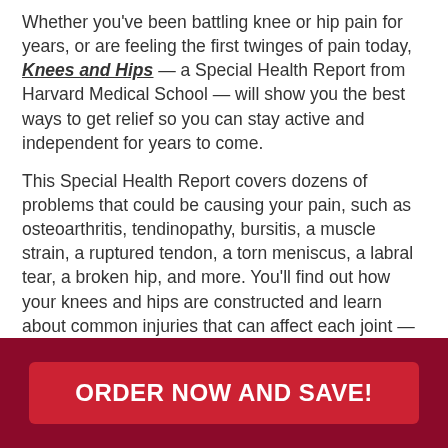Whether you've been battling knee or hip pain for years, or are feeling the first twinges of pain today, Knees and Hips — a Special Health Report from Harvard Medical School — will show you the best ways to get relief so you can stay active and independent for years to come.
This Special Health Report covers dozens of problems that could be causing your pain, such as osteoarthritis, tendinopathy, bursitis, a muscle strain, a ruptured tendon, a torn meniscus, a labral tear, a broken hip, and more. You'll find out how your knees and hips are constructed and learn about common injuries that can affect each joint — and the different types of pain they cause. You'll see how familiarizing yourself with the various parts of your knees and hips will help you
ORDER NOW AND SAVE!